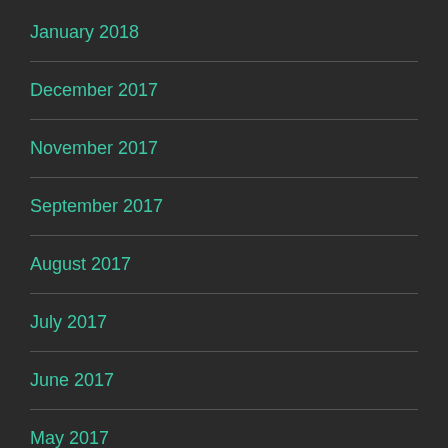January 2018
December 2017
November 2017
September 2017
August 2017
July 2017
June 2017
May 2017